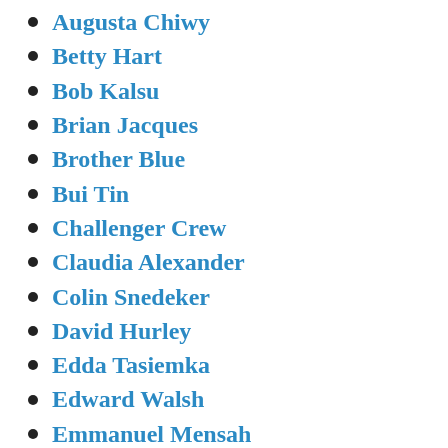Augusta Chiwy
Betty Hart
Bob Kalsu
Brian Jacques
Brother Blue
Bui Tin
Challenger Crew
Claudia Alexander
Colin Snedeker
David Hurley
Edda Tasiemka
Edward Walsh
Emmanuel Mensah
Esther Earl
Eustace Caggiano
Fred Thompson